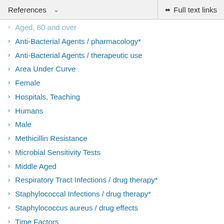References  ∨   Full text links
Aged, 80 and over
Anti-Bacterial Agents / pharmacology*
Anti-Bacterial Agents / therapeutic use
Area Under Curve
Female
Hospitals, Teaching
Humans
Male
Methicillin Resistance
Microbial Sensitivity Tests
Middle Aged
Respiratory Tract Infections / drug therapy*
Staphylococcal Infections / drug therapy*
Staphylococcus aureus / drug effects
Time Factors
Treatment Outcome
Vancomycin / pharmacology*